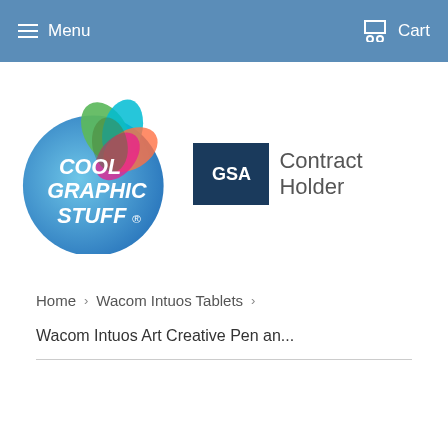Menu   Cart
[Figure (logo): Cool Graphic Stuff circular logo with colorful leaf shapes on top, and GSA Contract Holder badge to the right]
Home  >  Wacom Intuos Tablets  >
Wacom Intuos Art Creative Pen an...